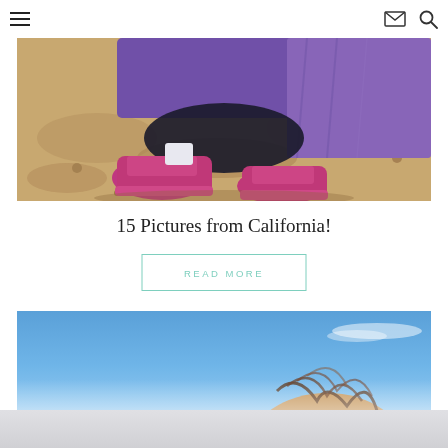Navigation header with hamburger menu, email icon, and search icon
[Figure (photo): Close-up photo looking down at person's feet wearing pink/magenta sneakers on a dirt trail, with purple shorts visible, sandy rocky ground]
15 Pictures from California!
READ MORE
[Figure (photo): Photo with blue sky background, partial view of person's head with hair, light/faded at the bottom]